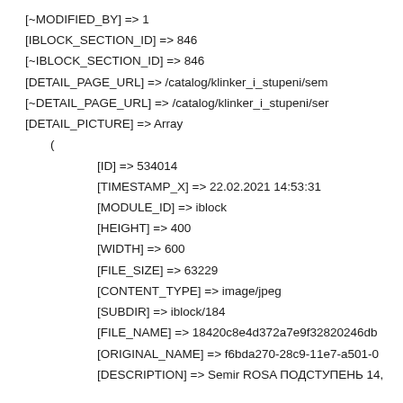[~MODIFIED_BY] => 1
[IBLOCK_SECTION_ID] => 846
[~IBLOCK_SECTION_ID] => 846
[DETAIL_PAGE_URL] => /catalog/klinker_i_stupeni/sem
[~DETAIL_PAGE_URL] => /catalog/klinker_i_stupeni/ser
[DETAIL_PICTURE] => Array
    (
        [ID] => 534014
        [TIMESTAMP_X] => 22.02.2021 14:53:31
        [MODULE_ID] => iblock
        [HEIGHT] => 400
        [WIDTH] => 600
        [FILE_SIZE] => 63229
        [CONTENT_TYPE] => image/jpeg
        [SUBDIR] => iblock/184
        [FILE_NAME] => 18420c8e4d372a7e9f32820246db
        [ORIGINAL_NAME] => f6bda270-28c9-11e7-a501-0
        [DESCRIPTION] => Semir ROSA ПОДСТУПЕНЬ 14,